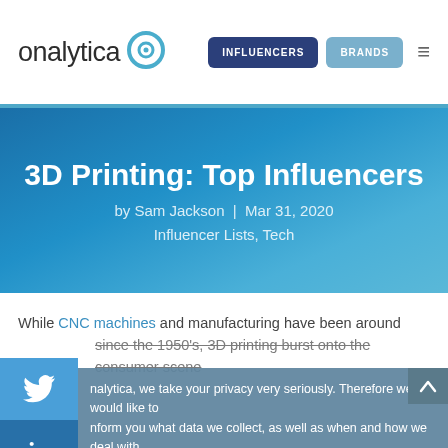onalytica | INFLUENCERS | BRANDS
3D Printing: Top Influencers
by Sam Jackson | Mar 31, 2020
Influencer Lists, Tech
While CNC machines and manufacturing have been around since the 1950's, 3D printing burst onto the consumer scene...
nalytica, we take your privacy very seriously. Therefore we would like to inform you what data we collect, as well as when and how we deal with your personal information. To learn more, read our Privacy and Cookie Policy. If you have any questions, don't hesitate to contact us.